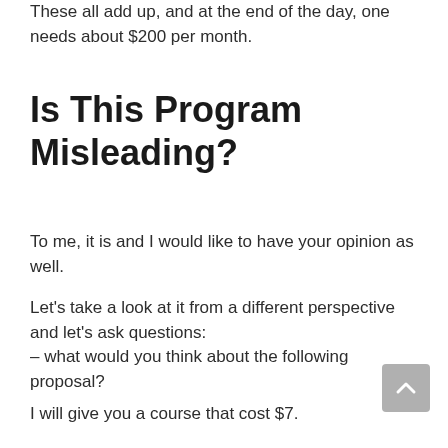These all add up, and at the end of the day, one needs about $200 per month.
Is This Program Misleading?
To me, it is and I would like to have your opinion as well.
Let’s take a look at it from a different perspective and let’s ask questions:
– what would you think about the following proposal?
I will give you a course that cost $7.